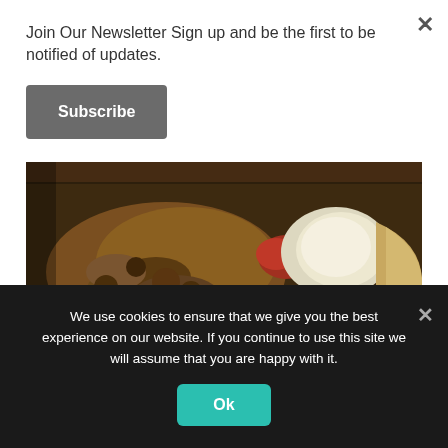Join Our Newsletter Sign up and be the first to be notified of updates.
Subscribe
[Figure (photo): Close-up photo of food in a pan or dish — sautéed vegetables, mushrooms, caramelized onions, with white cheese and a flour tortilla visible, shot from above with a spoon.]
Episode 78 – Greg Heo Cracks the Whip
Leave a reply
We use cookies to ensure that we give you the best experience on our website. If you continue to use this site we will assume that you are happy with it.
Ok